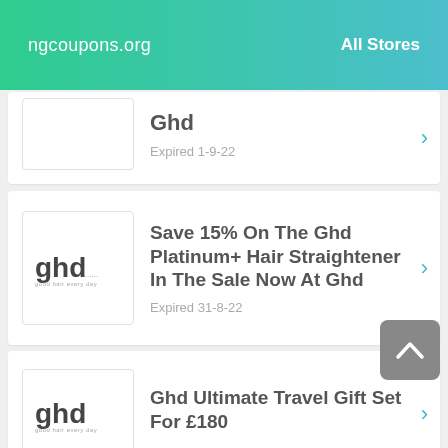ngcoupons.org    All Stores
Ghd
Expired 1-9-22
Save 15% On The Ghd Platinum+ Hair Straightener In The Sale Now At Ghd
Expired 31-8-22
Ghd Ultimate Travel Gift Set For £180